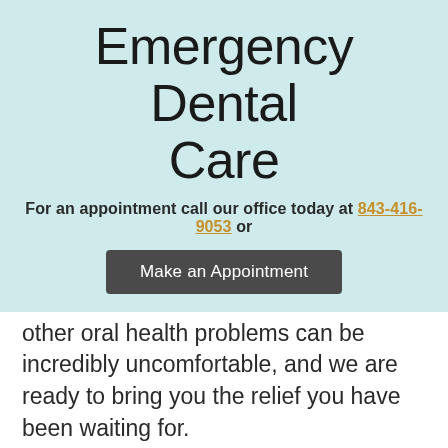Emergency Dental Care
For an appointment call our office today at 843-416-9053 or
Make an Appointment
other oral health problems can be incredibly uncomfortable, and we are ready to bring you the relief you have been waiting for.
If you are not experiencing oral pain but still have a dental issue such as a cracked tooth, broken dentures or a misplaced filling, please do not hesitate to give us a call at 843-416-9053! Research shows periodontal problems can potentially elevate the risk for other health issues, including diabetes,